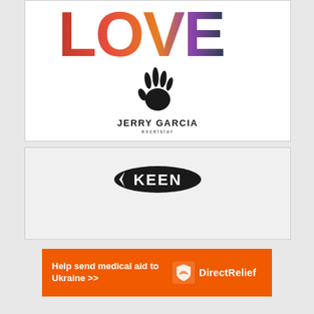[Figure (illustration): LOVE text graphic with colorful photographic collage fill — red, orange, purple tones. Below it, a Jerry Garcia Enterprises handprint logo with 'JERRY GARCIA excelsior' text.]
[Figure (logo): KEEN brand logo — oval black badge with KEEN in white text with stylized chevron.]
[Figure (infographic): Orange banner advertisement reading 'Help send medical aid to Ukraine >>' with Direct Relief logo (white bird/shield icon) and 'Direct Relief' text on the right.]